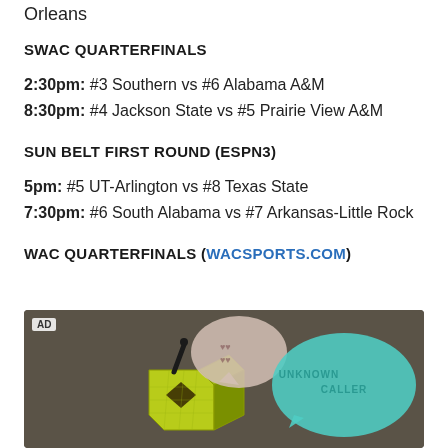Orleans
SWAC QUARTERFINALS
2:30pm: #3 Southern vs #6 Alabama A&M
8:30pm: #4 Jackson State vs #5 Prairie View A&M
SUN BELT FIRST ROUND (ESPN3)
5pm: #5 UT-Arlington vs #8 Texas State
7:30pm: #6 South Alabama vs #7 Arkansas-Little Rock
WAC QUARTERFINALS (WACSports.com)
[Figure (photo): Advertisement image showing stylized illustration of a yellow-green geometric robot/figure with two speech bubbles - a pink one with symbols and a teal/mint one saying 'UNKNOWN CALLER', set against a dark brown background]